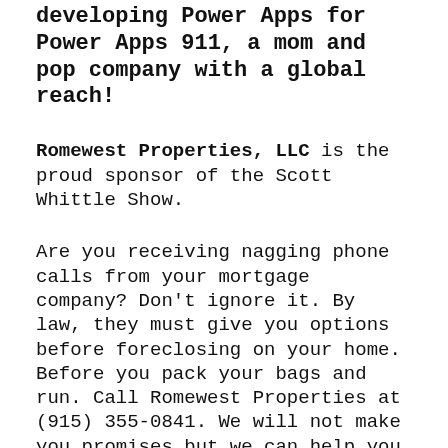developing Power Apps for Power Apps 911, a mom and pop company with a global reach!
Romewest Properties, LLC is the proud sponsor of the Scott Whittle Show.
Are you receiving nagging phone calls from your mortgage company? Don't ignore it. By law, they must give you options before foreclosing on your home. Before you pack your bags and run. Call Romewest Properties at (915) 355-0841. We will not make you promises but we can help you understand your options and walk you through the steps of improving your situation. Don't ruin your credit! Don't lose your VA Housing Benefits! Allow Romewest Properties to help you.